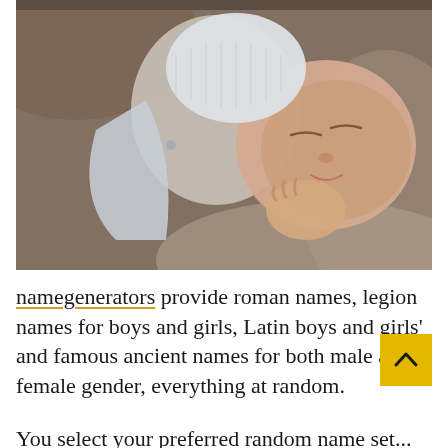[Figure (photo): A sleeping newborn baby wrapped in a soft brown/gray blanket, wearing a white knit hat and onesie, with hands near its face.]
namegenerators provide roman names, legion names for boys and girls, Latin boys and girls' and famous ancient names for both male and female gender, everything at random.
You select your preferred random name set...